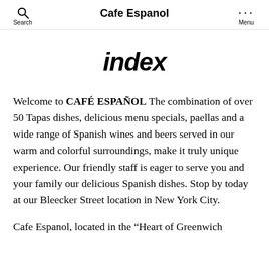Search | Cafe Espanol | Menu
index
Welcome to CAFÉ ESPAÑOL The combination of over 50 Tapas dishes, delicious menu specials, paellas and a wide range of Spanish wines and beers served in our warm and colorful surroundings, make it truly unique experience. Our friendly staff is eager to serve you and your family our delicious Spanish dishes. Stop by today at our Bleecker Street location in New York City.
Cafe Espanol, located in the “Heart of Greenwich